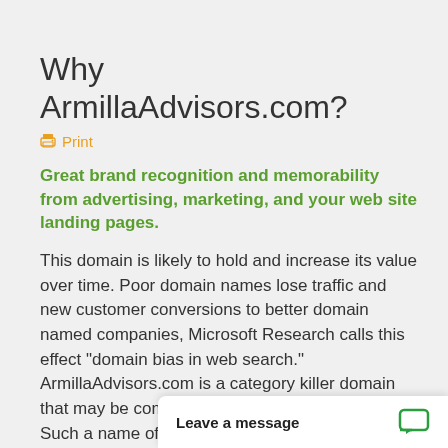Why ArmillaAdvisors.com?
🖨 Print
Great brand recognition and memorability from advertising, marketing, and your web site landing pages.
This domain is likely to hold and increase its value over time. Poor domain names lose traffic and new customer conversions to better domain named companies, Microsoft Research calls this effect "domain bias in web search." ArmillaAdvisors.com is a category killer domain that may be commonly used around the world. Such a name offers your company a clear competitive a…
ArmillaAdvisors.cor…
Leave a message